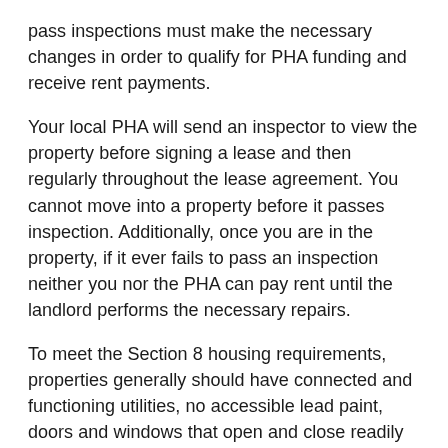pass inspections must make the necessary changes in order to qualify for PHA funding and receive rent payments.
Your local PHA will send an inspector to view the property before signing a lease and then regularly throughout the lease agreement. You cannot move into a property before it passes inspection. Additionally, once you are in the property, if it ever fails to pass an inspection neither you nor the PHA can pay rent until the landlord performs the necessary repairs.
To meet the Section 8 housing requirements, properties generally should have connected and functioning utilities, no accessible lead paint, doors and windows that open and close readily and provide a clean seal, functioning locks and more. Additionally, the ceilings, walls, floors and roof should be in good condition.